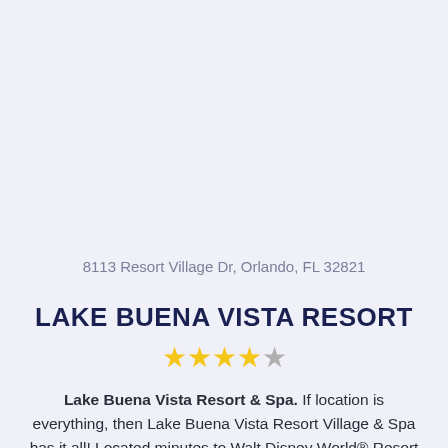8113 Resort Village Dr, Orlando, FL 32821
LAKE BUENA VISTA RESORT
[Figure (other): 4.5 star rating shown as 4 gold stars and 1 grey star]
Lake Buena Vista Resort & Spa. If location is everything, then Lake Buena Vista Resort Village & Spa has it all! Located minutes to Walt Disney World® Resort and designated as a Walt Disney